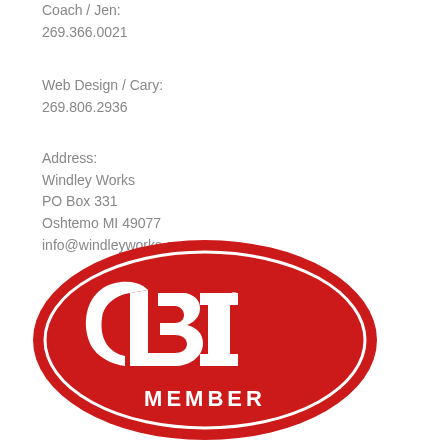Coach / Jen:
269.366.0021
Web Design / Cary:
269.806.2936
Address:
Windley Works
PO Box 331
Oshtemo MI 49077
info@windleyworks.com
[Figure (logo): ASI Member red oval logo with white text and stylized 'asi' lettering, with 'MEMBER' text below]